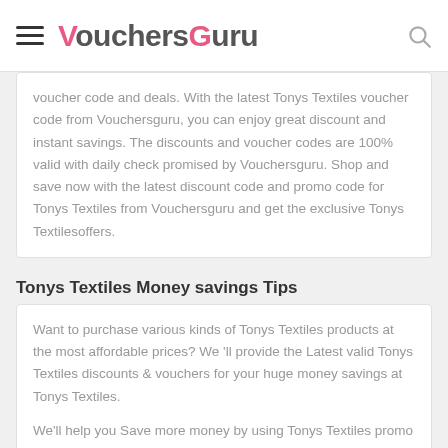VouchersGuru
voucher code and deals. With the latest Tonys Textiles voucher code from Vouchersguru, you can enjoy great discount and instant savings. The discounts and voucher codes are 100% valid with daily check promised by Vouchersguru. Shop and save now with the latest discount code and promo code for Tonys Textiles from Vouchersguru and get the exclusive Tonys Textilesoffers.
Tonys Textiles Money savings Tips
Want to purchase various kinds of Tonys Textiles products at the most affordable prices? We 'll provide the Latest valid Tonys Textiles discounts & vouchers for your huge money savings at Tonys Textiles.
We'll help you Save more money by using Tonys Textiles promo code & deals. Daily update & check for Tonys Textiles discount vouchers from Vouchersguru.